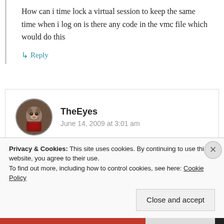How can i time lock a virtual session to keep the same time when i log on is there any code in the vmc file which would do this
↳ Reply
TheEyes
June 14, 2009 at 3:01 am
Try installing linux to an external and then
Privacy & Cookies: This site uses cookies. By continuing to use this website, you agree to their use.
To find out more, including how to control cookies, see here: Cookie Policy
Close and accept